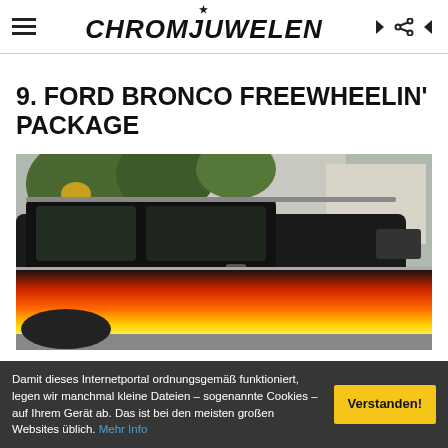CHROMJUWELEN
9. FORD BRONCO FREEWHEELIN' PACKAGE
[Figure (photo): Side view of a Ford Bronco with Freewheelin' Package — black top with orange/red/yellow gradient stripe along the lower body, parked in what appears to be a suburban driveway or parking area with trees and a building in the background.]
Damit dieses Internetportal ordnungsgemäß funktioniert, legen wir manchmal kleine Dateien – sogenannte Cookies – auf Ihrem Gerät ab. Das ist bei den meisten großen Websites üblich. Mehr Info